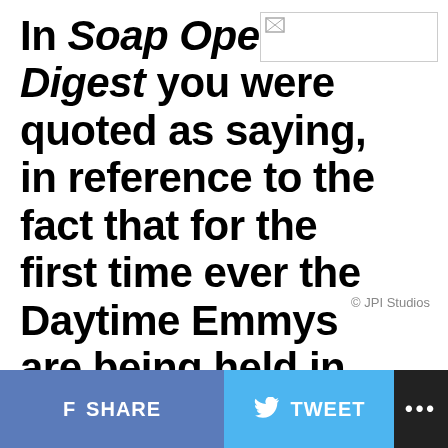In Soap Opera Digest you were quoted as saying, in reference to the fact that for the first time ever the Daytime Emmys are being held in Vegas, the following: “I think I would
[Figure (photo): Image placeholder with broken image icon in top right area]
© JPI Studios
SHARE  TWEET  ...